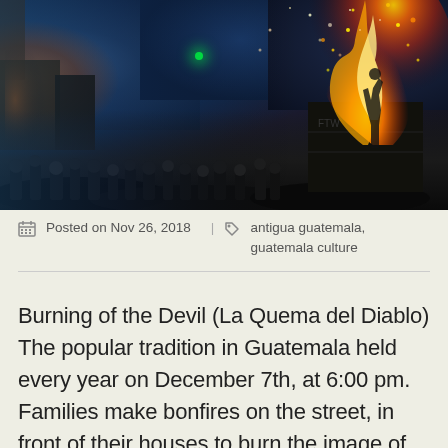[Figure (photo): Night scene of a crowd watching a large bonfire/burning effigy on a dark street. A figure appears to be on fire atop a dark structure on the right side. Orange flames and sparks light up the scene against a dark blue night sky. A green light is visible in the crowd.]
Posted on Nov 26, 2018  |  antigua guatemala, guatemala culture
Burning of the Devil (La Quema del Diablo) The popular tradition in Guatemala held every year on December 7th, at 6:00 pm. Families make bonfires on the street, in front of their houses to burn the image of